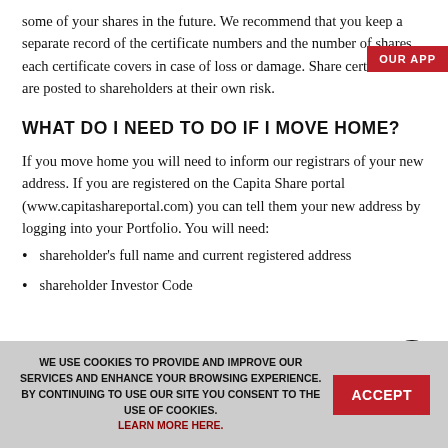some of your shares in the future. We recommend that you keep a separate record of the certificate numbers and the number of shares each certificate covers in case of loss or damage. Share certificates are posted to shareholders at their own risk.
WHAT DO I NEED TO DO IF I MOVE HOME?
If you move home you will need to inform our registrars of your new address. If you are registered on the Capita Share portal (www.capitashareportal.com) you can tell them your new address by logging into your Portfolio. You will need:
shareholder's full name and current registered address
shareholder Investor Code
WE USE COOKIES TO PROVIDE AND IMPROVE OUR SERVICES AND ENHANCE YOUR BROWSING EXPERIENCE. BY CONTINUING TO USE OUR SITE YOU CONSENT TO THE USE OF COOKIES. LEARN MORE HERE.